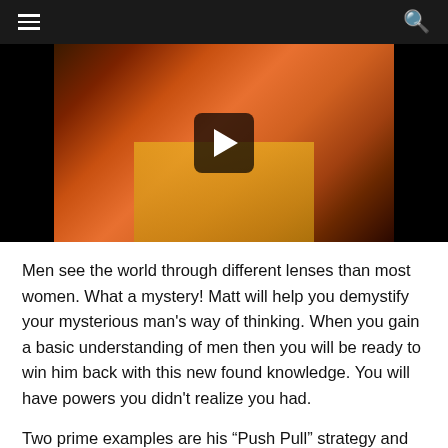Navigation bar with hamburger menu and search icon
[Figure (photo): Video thumbnail showing a woman with long red/orange wavy hair wearing a yellow top, with a play button overlay on a dark background]
Men see the world through different lenses than most women. What a mystery! Matt will help you demystify your mysterious man's way of thinking. When you gain a basic understanding of men then you will be ready to win him back with this new found knowledge. You will have powers you didn't realize you had.
Two prime examples are his “Push Pull” strategy and his